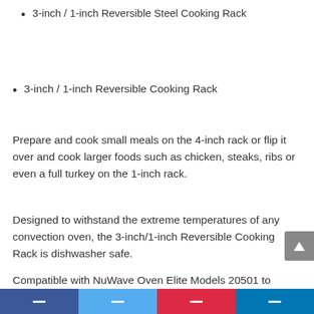3-inch / 1-inch Reversible Steel Cooking Rack
3-inch / 1-inch Reversible Cooking Rack
Prepare and cook small meals on the 4-inch rack or flip it over and cook larger foods such as chicken, steaks, ribs or even a full turkey on the 1-inch rack.
Designed to withstand the extreme temperatures of any convection oven, the 3-inch/1-inch Reversible Cooking Rack is dishwasher safe.
Compatible with NuWave Oven Elite Models 20501 to 20558